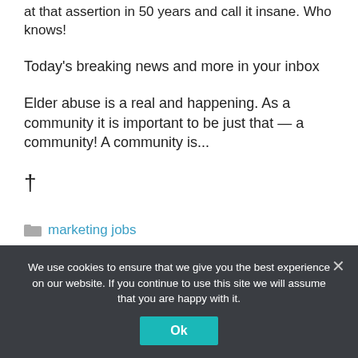at that assertion in 50 years and call it insane. Who knows!
Today's breaking news and more in your inbox
Elder abuse is a real and happening. As a community it is important to be just that — a community! A community is...
†
marketing jobs
We use cookies to ensure that we give you the best experience on our website. If you continue to use this site we will assume that you are happy with it.